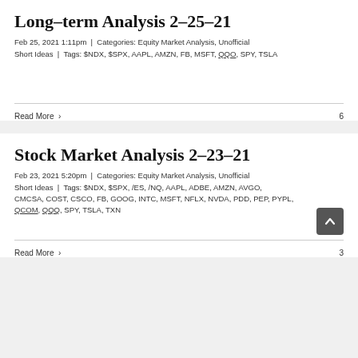Long-term Analysis 2-25-21
Feb 25, 2021 1:11pm | Categories: Equity Market Analysis, Unofficial Short Ideas | Tags: $NDX, $SPX, AAPL, AMZN, FB, MSFT, QQO, SPY, TSLA
Read More > 6
Stock Market Analysis 2-23-21
Feb 23, 2021 5:20pm | Categories: Equity Market Analysis, Unofficial Short Ideas | Tags: $NDX, $SPX, /ES, /NQ, AAPL, ADBE, AMZN, AVGO, CMCSA, COST, CSCO, FB, GOOG, INTC, MSFT, NFLX, NVDA, PDD, PEP, PYPL, QCOM, QQQ, SPY, TSLA, TXN
Read More > 3